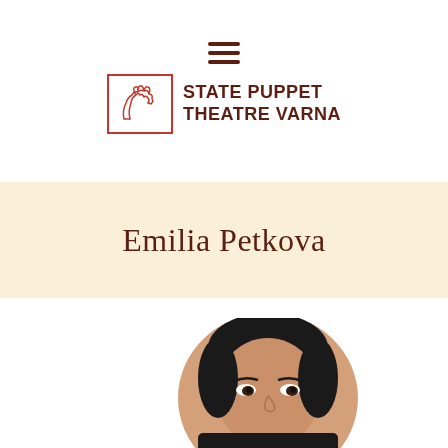[Figure (logo): State Puppet Theatre Varna logo with hamburger menu icon, a square border with a hand puppet silhouette, and bold text 'STATE PUPPET THEATRE VARNA']
Emilia Petkova
[Figure (photo): Partial photo of a woman with dark hair pulled back, looking toward the camera, cropped at the bottom of the page]